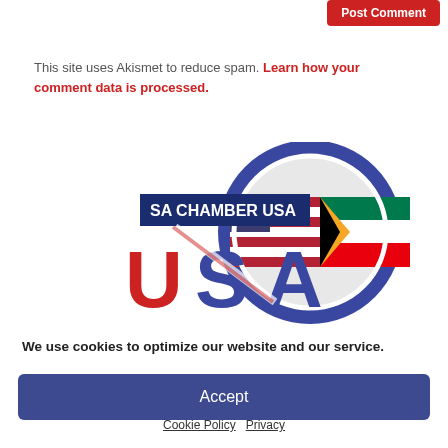Post Comment
This site uses Akismet to reduce spam. Learn how your comment data is processed.
[Figure (logo): SA Chamber USA logo with American and South African flags shaking hands inside a blue circle, with large red and blue USA text]
We use cookies to optimize our website and our service.
Accept
Cookie Policy   Privacy